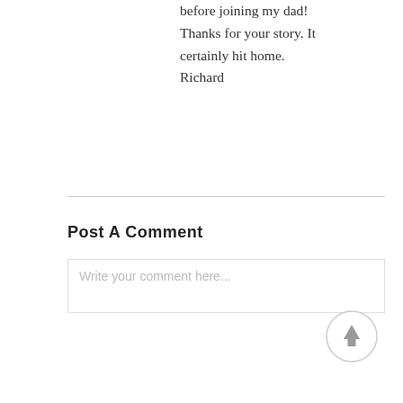before joining my dad! Thanks for your story. It certainly hit home. Richard
Post A Comment
Write your comment here...